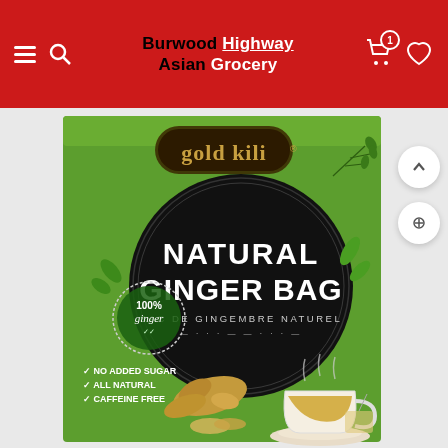Burwood Highway Asian Grocery - navigation header with menu, search, cart and wishlist icons
[Figure (photo): Gold Kili Natural Ginger Bag product box on green background. Large black circle with 'NATURAL GINGER BAG' text, '100% ginger' stamp, 'SAC DE GINGEMBRE NATUREL' subtitle, checkmarks for 'No Added Sugar, All Natural, Caffeine Free'. Ginger root pieces and a cup of ginger tea shown at bottom.]